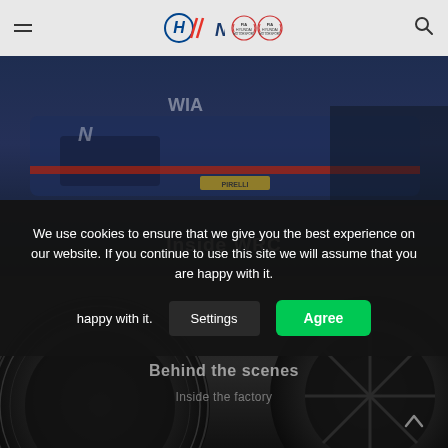[Figure (screenshot): Hyundai Motorsport website header with hamburger menu on the left, Hyundai Motorsport logo and N brand logo in the center, two FIA championship badge logos, and a search icon on the right, on a light gray background]
[Figure (photo): Dark blue-tinted photo of a Hyundai WRC rally car with 'Inside WRC' text overlay, showing car details with Pirelli branding visible]
We use cookies to ensure that we give you the best experience on our website. If you continue to use this site we will assume that you are happy with it.
[Figure (screenshot): Cookie consent banner with Settings button and green Agree button]
[Figure (photo): Dark photo of large rally car tires close up, with 'Behind the scenes' and 'Inside the factory' text overlaid in light grey]
Behind the scenes
Inside the factory